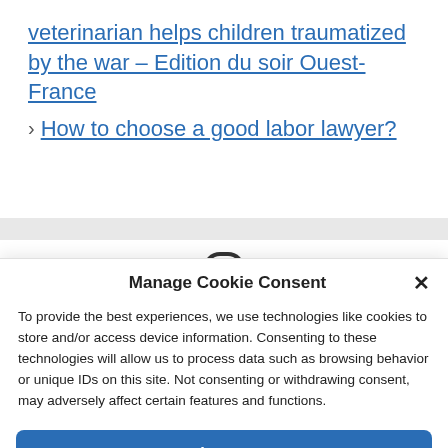veterinarian helps children traumatized by the war – Edition du soir Ouest-France
How to choose a good labor lawyer?
Manage Cookie Consent
To provide the best experiences, we use technologies like cookies to store and/or access device information. Consenting to these technologies will allow us to process data such as browsing behavior or unique IDs on this site. Not consenting or withdrawing consent, may adversely affect certain features and functions.
Accept
Cookie Policy